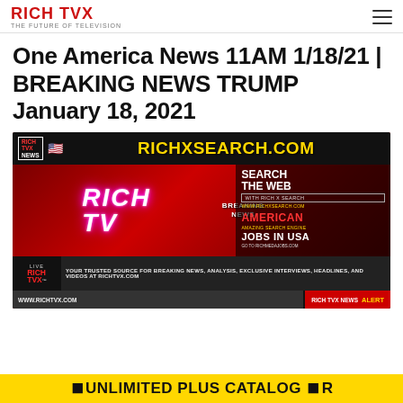RICH TVX — THE FUTURE OF TELEVISION
One America News 11AM 1/18/21 | BREAKING NEWS TRUMP January 18, 2021
[Figure (screenshot): Rich TVX News video thumbnail showing RichXSearch.com advertisement with Breaking News branding, neon RICH TV logo, and lower-third bar with RICH TVX NEWS ALERT.]
UNLIMITED PLUS CATALOG R